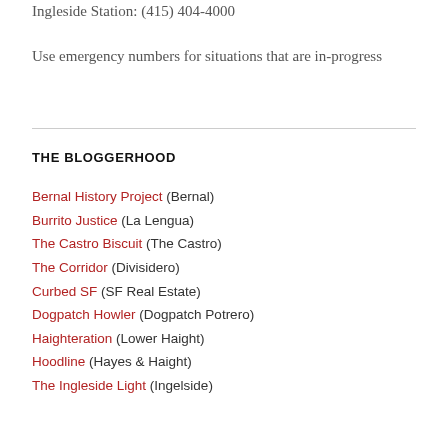Ingleside Station: (415) 404-4000

Use emergency numbers for situations that are in-progress
THE BLOGGERHOOD
Bernal History Project (Bernal)
Burrito Justice (La Lengua)
The Castro Biscuit (The Castro)
The Corridor (Divisidero)
Curbed SF (SF Real Estate)
Dogpatch Howler (Dogpatch Potrero)
Haighteration (Lower Haight)
Hoodline (Hayes & Haight)
The Ingleside Light (Ingelside)